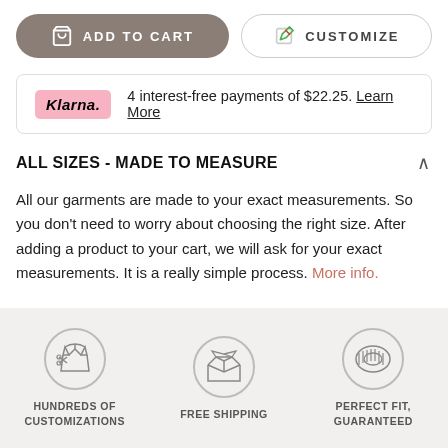[Figure (screenshot): ADD TO CART button (dark grey/taupe rounded pill button with cart icon) and CUSTOMIZE button (white outlined rounded pill button with edit icon)]
4 interest-free payments of $22.25. Learn More
ALL SIZES - MADE TO MEASURE
All our garments are made to your exact measurements. So you don't need to worry about choosing the right size. After adding a product to your cart, we will ask for your exact measurements. It is a really simple process. More info.
[Figure (illustration): Three circular icons in a row on light grey background: tailoring/customization icon, open box/shipping icon, tape measure/perfect fit icon, with labels HUNDREDS OF CUSTOMIZATIONS, FREE SHIPPING, PERFECT FIT, GUARANTEED]